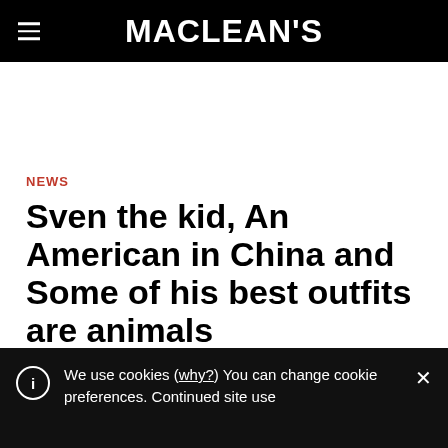MACLEAN'S
NEWS
Sven the kid, An American in China and Some of his best outfits are animals
Newsmakers
By Maclean's
We use cookies (why?) You can change cookie preferences. Continued site use